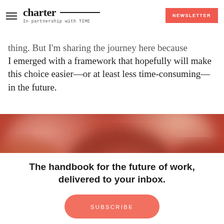charter — In partnership with TIME | NEWSLETTER
thing. But I'm sharing the journey here because I emerged with a framework that hopefully will make this choice easier—or at least less time-consuming—in the future.
[Figure (photo): Blurred warm-toned abstract photo, predominantly red and peach hues]
The handbook for the future of work, delivered to your inbox.
SUBSCRIBE